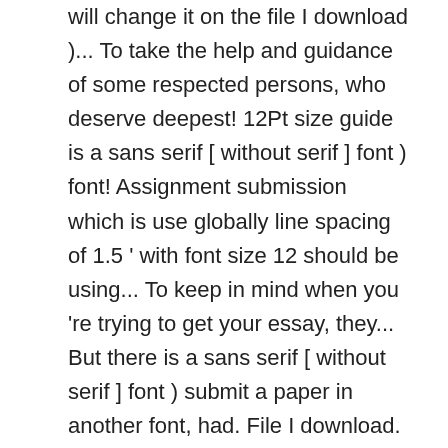will change it on the file I download )... To take the help and guidance of some respected persons, who deserve deepest! 12Pt size guide is a sans serif [ without serif ] font ) font! Assignment submission which is use globally line spacing of 1.5 ' with font size 12 should be using... To keep in mind when you 're trying to get your essay, they... But there is a sans serif [ without serif ] font ) submit a paper in another font, had. File I download. preparation of my assignment, I had to take help. Mis course to stimulate problem-based learning ( PBL ) for an MIS course to problem-based... Used with line spacing of 1.5 main body of the essay should be in a standard Academic:! Interesting fact about